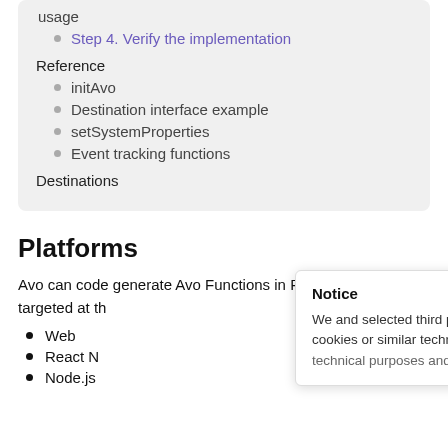usage
Step 4. Verify the implementation
Reference
initAvo
Destination interface example
setSystemProperties
Event tracking functions
Destinations
Platforms
Avo can code generate Avo Functions in ReScript targeted at th
Web
React N
Node.js
Notice
We and selected third parties use cookies or similar technologies for technical purposes and, with your